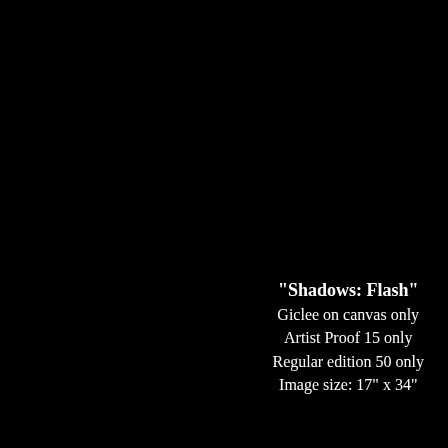"Shadows: Flash"
Giclee on canvas only
Artist Proof 15 only
Regular edition 50 only
Image size: 17" x 34"